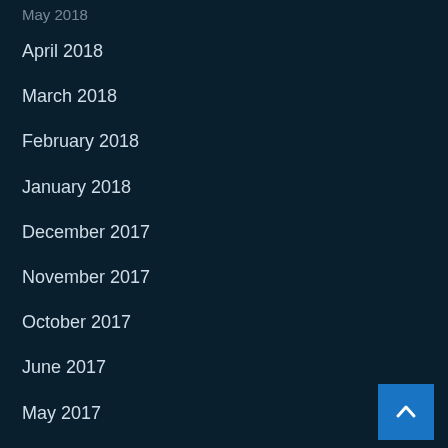May 2018 (partial, cut off at top)
April 2018
March 2018
February 2018
January 2018
December 2017
November 2017
October 2017
June 2017
May 2017
April 2017
March 2017